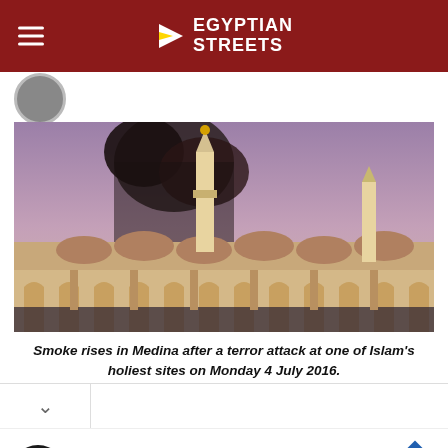Egyptian Streets
[Figure (photo): Aerial/elevated view of the Prophet's Mosque in Medina with dark smoke rising in the background against a purple-tinted sky. Large crowds visible at ground level. Multiple minarets visible including the prominent central minaret.]
Smoke rises in Medina after a terror attack at one of Islam's holiest sites on Monday 4 July 2016.
[Figure (infographic): Advertisement: Save Up to 65% - Leesburg Premium Outlets. Shows a black circular icon with arrows, and a blue diamond navigation arrow icon on the right.]